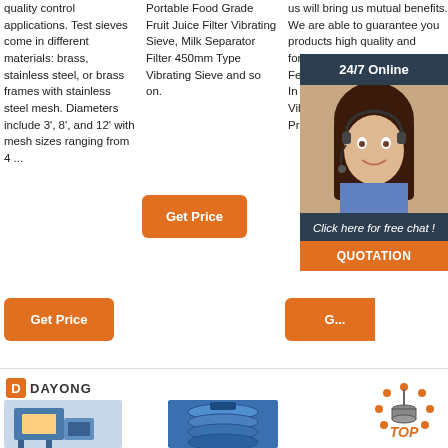quality control applications. Test sieves come in different materials: brass, stainless steel, or brass frames with stainless steel mesh. Diameters include 3', 8', and 12' with mesh sizes ranging from 4 ...
Portable Food Grade Fruit Juice Filter Vibrating Sieve, Milk Separator Filter 450mm Type Vibrating Sieve and so on.
us will bring us mutual benefits. We are able to guarantee you products high quality and ... for B... Fee... In C... Vibr... Prof...
[Figure (photo): 24/7 Online chat widget with woman wearing headset, dark background, orange quotation button]
Get Price
Get Price
G... (Get Price, partially hidden)
[Figure (logo): DAYONG logo with orange D icon]
[Figure (photo): Industrial sieve machine, blue/metal, left product]
[Figure (photo): Blue stacked vibrating sieve machine, center product]
[Figure (other): TOP icon with orange dots arc and orange text, right side]